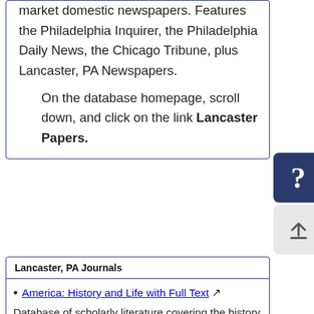market domestic newspapers. Features the Philadelphia Inquirer, the Philadelphia Daily News, the Chicago Tribune, plus Lancaster, PA Newspapers.
On the database homepage, scroll down, and click on the link Lancaster Papers.
Lancaster, PA Journals
America: History and Life with Full Text
Database of scholarly literature covering the history and culture of the United States and Canada, from prehistory to the present.
Search for references to articles published in the Journal of the Lancaster County Historical Society